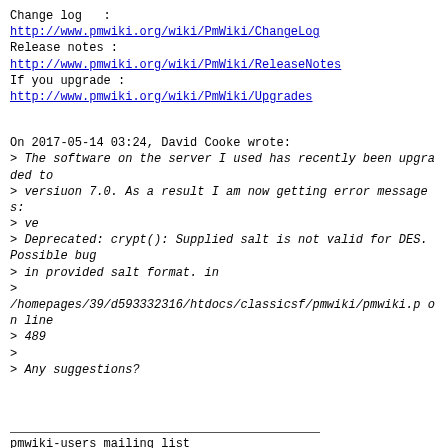Change log   :
http://www.pmwiki.org/wiki/PmWiki/ChangeLog
Release notes :
http://www.pmwiki.org/wiki/PmWiki/ReleaseNotes
If you upgrade :
http://www.pmwiki.org/wiki/PmWiki/Upgrades
On 2017-05-14 03:24, David Cooke wrote:
> The software on the server I used has recently been upgraded to
> versiuon 7.0. As a result I am now getting error messages:
> ve
> Deprecated: crypt(): Supplied salt is not valid for DES. Possible bug
> in provided salt format. in
>
/homepages/39/d593332316/htdocs/classicsf/pmwiki/pmwiki.p on line
> 489
>
> Any suggestions?
pmwiki-users mailing list
pmwiki-users at pmichaud.com
http://www.pmichaud.com/mailman/listinfo/pmwiki-users